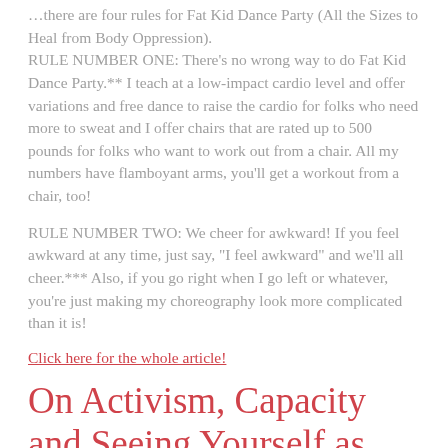…there are four rules for Fat Kid Dance Party (All the Sizes to Heal from Body Oppression).
RULE NUMBER ONE: There's no wrong way to do Fat Kid Dance Party.** I teach at a low-impact cardio level and offer variations and free dance to raise the cardio for folks who need more to sweat and I offer chairs that are rated up to 500 pounds for folks who want to work out from a chair. All my numbers have flamboyant arms, you'll get a workout from a chair, too!
RULE NUMBER TWO: We cheer for awkward! If you feel awkward at any time, just say, "I feel awkward" and we'll all cheer.*** Also, if you go right when I go left or whatever, you're just making my choreography look more complicated than it is!
Click here for the whole article!
On Activism, Capacity and Seeing Yourself as